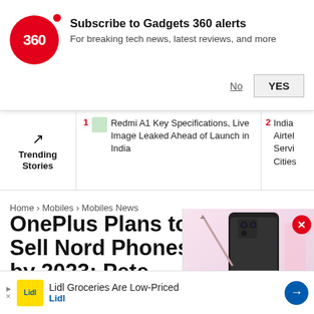[Figure (screenshot): Gadgets 360 notification subscription popup with red circular logo showing '360', title 'Subscribe to Gadgets 360 alerts', subtitle 'For breaking tech news, latest reviews, and more', with 'No' and 'YES' buttons]
Subscribe to Gadgets 360 alerts
For breaking tech news, latest reviews, and more
Trending Stories
1 Redmi A1 Key Specifications, Live Image Leaked Ahead of Launch in India
2 India Airtel Servi Cities
Home > Mobiles > Mobiles News
OnePlus Plans to Sell Nord Phones by 2023: Pete Lau
OnePlus Nord 2, successor to the original Nord launched
[Figure (photo): OnePlus Nord phone product image with red play button overlay for video]
Lidl Groceries Are Low-Priced Lidl